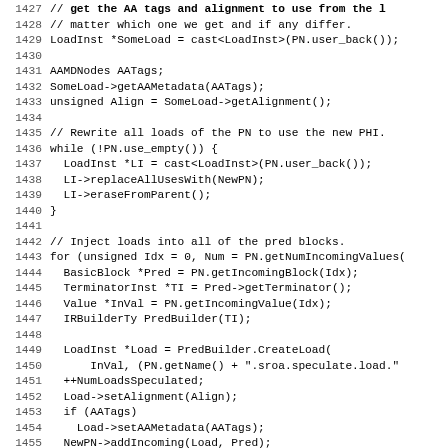[Figure (screenshot): Source code listing in monospace font showing C++ code lines 1427-1459, with line numbers on the left and code on the right. The code involves LoadInst, AAMDNodes, alignment, PHI nodes, and block manipulation.]